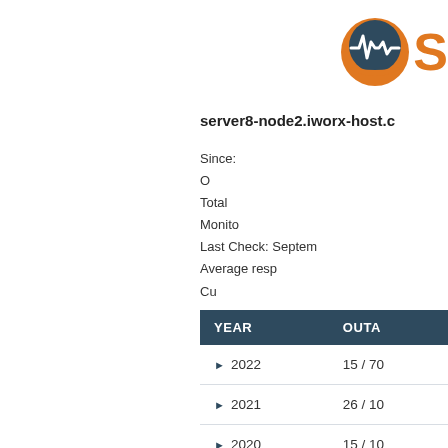[Figure (logo): Server monitoring service logo: dark blue and orange circular icon with heartbeat/mountain graphic, followed by large orange letter S]
server8-node2.iworx-host.c
Since:
O
Total
Monito
Last Check: Septem
Average resp
Cu
| YEAR | OUTA |
| --- | --- |
| ▶ 2022 | 15 / 70 |
| ▶ 2021 | 26 / 10 |
| ▶ 2020 | 15 / 10 |
| ▶ 2019 | 18 / 10 |